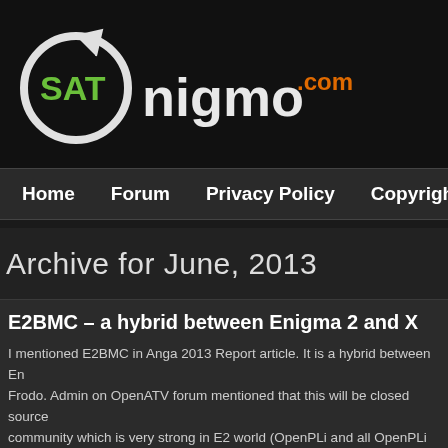[Figure (logo): SATnigmo.com logo — white circle with arrow, green SAT text, dark nigmo text, orange .com text]
Home  Forum  Privacy Policy  Copyright
Archive for June, 2013
E2BMC – a hybrid between Enigma 2 and X
I mentioned E2BMC in Anga 2013 Report article. It is a hybrid between En... Frodo. Admin on OpenATV forum mentioned that this will be closed source... community which is very strong in E2 world (OpenPLi and all OpenPLi bas... But its too early to tell if this will really happen.
OpenATV also got their hands on a test unit and they have already release... features: